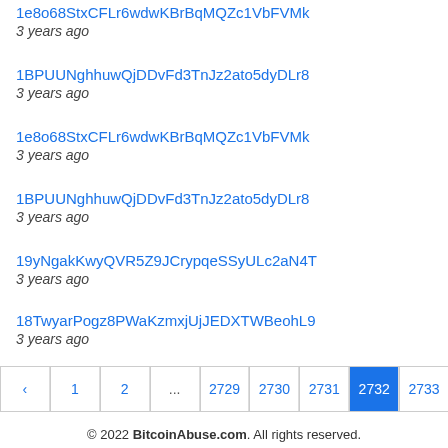1e8o68StxCFLr6wdwKBrBqMQZc1VbFVMk
3 years ago
1BPUUNghhuwQjDDvFd3TnJz2ato5dyDLr8
3 years ago
1e8o68StxCFLr6wdwKBrBqMQZc1VbFVMk
3 years ago
1BPUUNghhuwQjDDvFd3TnJz2ato5dyDLr8
3 years ago
19yNgakKwyQVR5Z9JCrypqeSSyULc2aN4T
3 years ago
18TwyarPogz8PWaKzmxjUjJEDXTWBeohL9
3 years ago
| nav |
| --- |
| ‹ | 1 | 2 | ... | 2729 | 2730 | 2731 | 2732 | 2733 |
© 2022 BitcoinAbuse.com. All rights reserved.